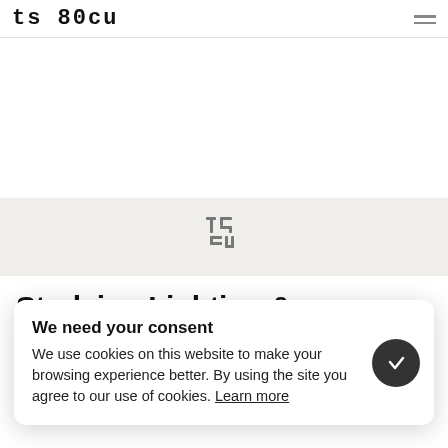ts 80cu
[Figure (logo): Small ts logo icon in gray on a light gray background section]
Studying Lighting &
We need your consent
We use cookies on this website to make your browsing experience better. By using the site you agree to our use of cookies. Learn more
Unreal Engine 4.